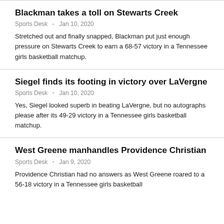Blackman takes a toll on Stewarts Creek
Sports Desk  Jan 10, 2020
Stretched out and finally snapped, Blackman put just enough pressure on Stewarts Creek to earn a 68-57 victory in a Tennessee girls basketball matchup.
Siegel finds its footing in victory over LaVergne
Sports Desk  Jan 10, 2020
Yes, Siegel looked superb in beating LaVergne, but no autographs please after its 49-29 victory in a Tennessee girls basketball matchup.
West Greene manhandles Providence Christian
Sports Desk  Jan 9, 2020
Providence Christian had no answers as West Greene roared to a 56-18 victory in a Tennessee girls basketball matchup.